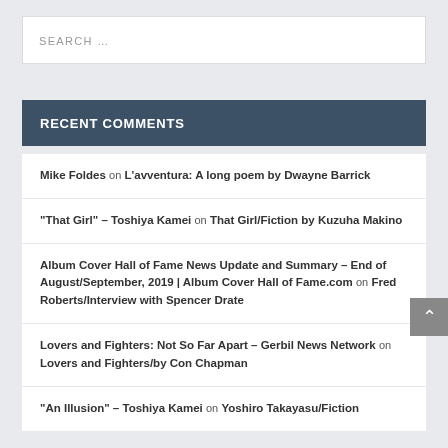SEARCH …
RECENT COMMENTS
Mike Foldes on L'avventura: A long poem by Dwayne Barrick
“That Girl” – Toshiya Kamei on That Girl/Fiction by Kuzuha Makino
Album Cover Hall of Fame News Update and Summary – End of August/September, 2019 | Album Cover Hall of Fame.com on Fred Roberts/Interview with Spencer Drate
Lovers and Fighters: Not So Far Apart – Gerbil News Network on Lovers and Fighters/by Con Chapman
“An Illusion” – Toshiya Kamei on Yoshiro Takayasu/Fiction